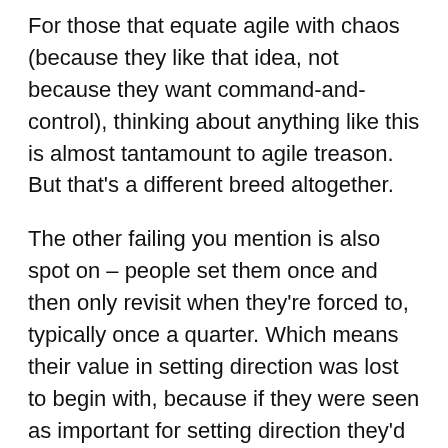For those that equate agile with chaos (because they like that idea, not because they want command-and-control), thinking about anything like this is almost tantamount to agile treason. But that's a different breed altogether.
The other failing you mention is also spot on – people set them once and then only revisit when they're forced to, typically once a quarter. Which means their value in setting direction was lost to begin with, because if they were seen as important for setting direction they'd be getting used on a regular basis to sense check what's being planned next.
The challenges with OKRs are the same as all agile-style challenges. Don't just send people on a course, or give them an edict and just expect them to get on with it. Actually coach them through it, including how to adjust